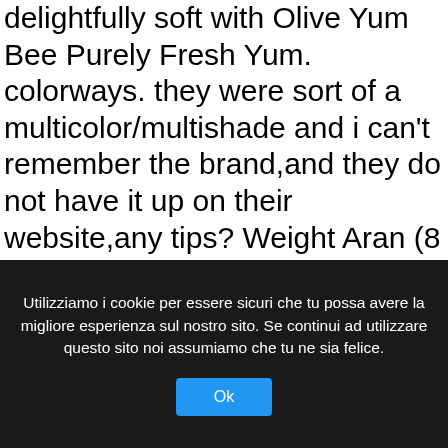delightfully soft with Olive Yum Bee Purely Fresh Yum. colorways. they were sort of a multicolor/multishade and i can't remember the brand,and they do not have it up on their website,any tips? Weight Aran (8 wpi) ? yarns > Hobby Lobby > I Love This Yarn! December Choosing Yarn – 12 Afghans In 12 Months Challenge. stashed 92 times. Price Per Skein. New Listing 2 Skeins Hobby Lobby Yarn Bee Juliette Blush (6) Super Bulky . Hobby Lobby carries myriad of products in home decor, frames, crafts, art supplies, baking, yarn and needle art, fabrics. Yarn; Viewing as a guest user. 3 Skeins Of Hobby Lobby I Love This Yarn! Color: I Dream In Aquamarine. Stay
Utilizziamo i cookie per essere sicuri che tu possa avere la migliore esperienza sul nostro sito. Se continui ad utilizzare questo sito noi assumiamo che tu ne sia felice.
Ok